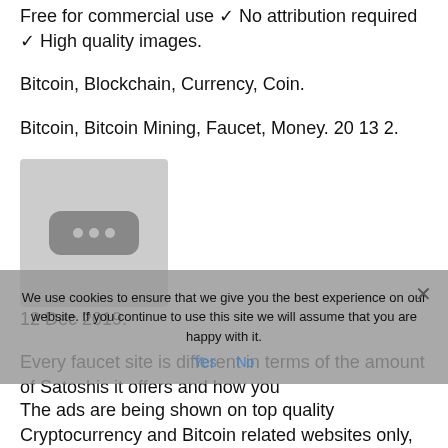Free for commercial use ✓ No attribution required ✓ High quality images.
Bitcoin, Blockchain, Currency, Coin.
Bitcoin, Bitcoin Mining, Faucet, Money. 20 13 2.
12 Dec 2019.
[Figure (photo): Thumbnail image placeholder with three dots icon on grey background]
Every faucet site is different in terms of the amount of Satoshis it offers and how you go about earning those Satoshis. That's why we've put
The ads are being shown on top quality Cryptocurrency and Bitcoin related websites only,
We use cookies to ensure that we give you the best experience on our website. If you continue to use this site we will assume that you are happy with it.